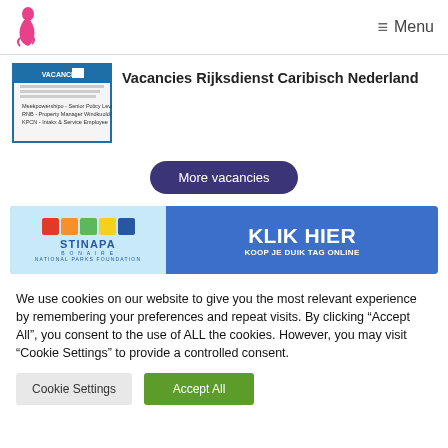Menu
Vacancies Rijksdienst Caribisch Nederland
[Figure (screenshot): Thumbnail image of Vacancies document for Rijksdienst Caribisch Nederland listing several positions]
More vacancies
[Figure (infographic): STINAPA National Parks Foundation banner with colored squares logo and 'KLIK HIER KOOP JE DUIK TAG ONLINE' call to action]
We use cookies on our website to give you the most relevant experience by remembering your preferences and repeat visits. By clicking "Accept All", you consent to the use of ALL the cookies. However, you may visit "Cookie Settings" to provide a controlled consent.
Cookie Settings
Accept All